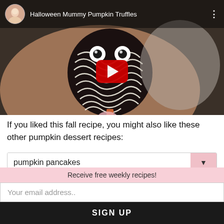[Figure (screenshot): YouTube video thumbnail for 'Halloween Mummy Pumpkin Truffles' showing a hand holding a chocolate truffle decorated like a mummy with white chocolate drizzle and candy eyes, with a red YouTube play button overlay and channel avatar in the top bar.]
If you liked this fall recipe, you might also like these other pumpkin dessert recipes:
pumpkin pancakes
Receive free weekly recipes!
Your email address..
SIGN UP